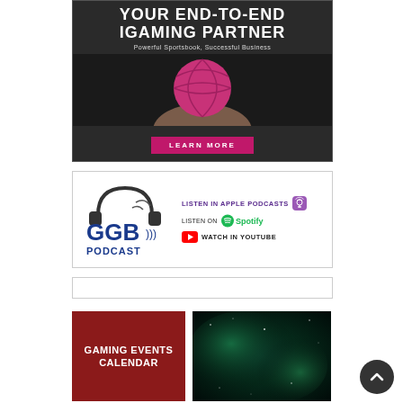[Figure (illustration): iGaming advertisement banner with dark background showing a pink basketball held up by hands, with text 'YOUR END-TO-END IGAMING PARTNER', 'Powerful Sportsbook, Successful Business', and a pink 'LEARN MORE' button]
[Figure (logo): GGB Podcast banner with logo on left and listening options on right: 'LISTEN IN APPLE PODCASTS' with purple podcast icon, 'LISTEN ON Spotify' with green Spotify logo, 'WATCH IN YOUTUBE' with red YouTube play button]
[Figure (other): Empty white bordered box]
[Figure (illustration): Gaming Events Calendar banner - dark red/maroon background with white text 'GAMING EVENTS CALENDAR']
[Figure (photo): Space/galaxy photograph with green and dark teal nebula]